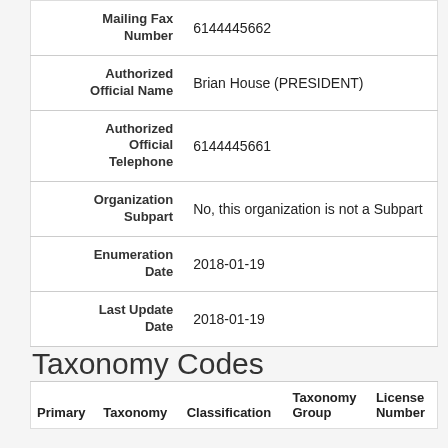| Field | Value |
| --- | --- |
| Mailing Fax Number | 6144445662 |
| Authorized Official Name | Brian House (PRESIDENT) |
| Authorized Official Telephone | 6144445661 |
| Organization Subpart | No, this organization is not a Subpart |
| Enumeration Date | 2018-01-19 |
| Last Update Date | 2018-01-19 |
Taxonomy Codes
| Primary | Taxonomy | Classification | Taxonomy Group | License Number |
| --- | --- | --- | --- | --- |